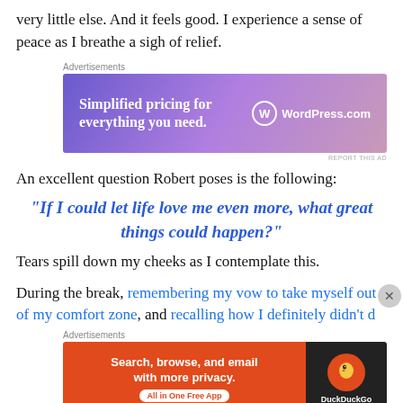very little else. And it feels good. I experience a sense of peace as I breathe a sigh of relief.
[Figure (other): WordPress.com advertisement: 'Simplified pricing for everything you need.' with WordPress.com logo on gradient purple/pink background]
An excellent question Robert poses is the following:
“If I could let life love me even more, what great things could happen?”
Tears spill down my cheeks as I contemplate this.
During the break, remembering my vow to take myself out of my comfort zone, and recalling how I definitely didn't d…
[Figure (other): DuckDuckGo advertisement: 'Search, browse, and email with more privacy. All in One Free App' with DuckDuckGo logo on orange/dark background]